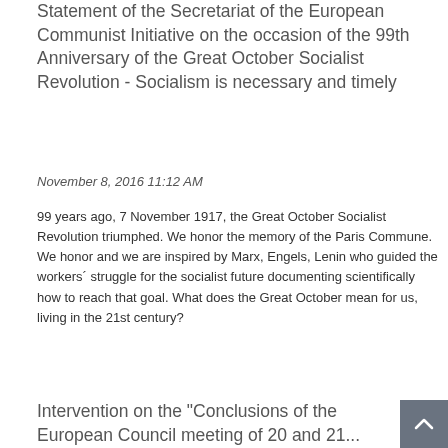Statement of the Secretariat of the European Communist Initiative on the occasion of the 99th Anniversary of the Great October Socialist Revolution - Socialism is necessary and timely
November 8, 2016 11:12 AM
99 years ago, 7 November 1917, the Great October Socialist Revolution triumphed. We honor the memory of the Paris Commune. We honor and we are inspired by Marx, Engels, Lenin who guided the workers´ struggle for the socialist future documenting scientifically how to reach that goal. What does the Great October mean for us, living in the 21st century?
read more
Intervention on the "Conclusions of the European Council meeting of 20 and 21...